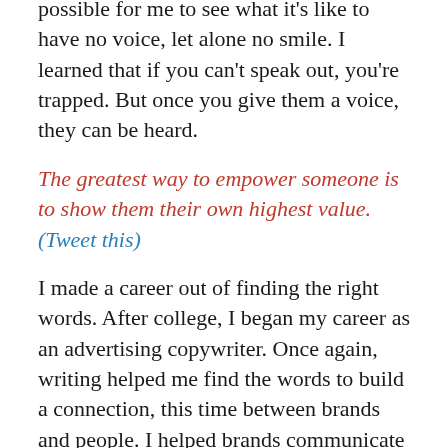possible for me to see what it's like to have no voice, let alone no smile. I learned that if you can't speak out, you're trapped. But once you give them a voice, they can be heard.
The greatest way to empower someone is to show them their own highest value. (Tweet this)
I made a career out of finding the right words. After college, I began my career as an advertising copywriter. Once again, writing helped me find the words to build a connection, this time between brands and people. I helped brands communicate who they are.
I never ending the sign of f